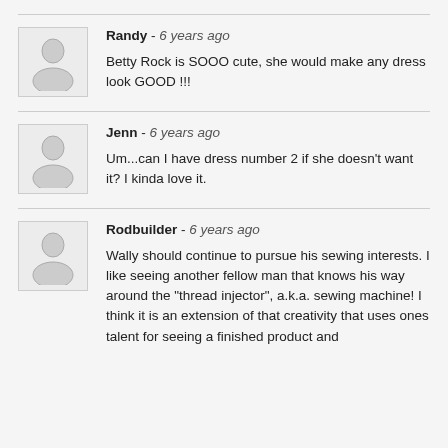Randy - 6 years ago
Betty Rock is SOOO cute, she would make any dress look GOOD !!!
Jenn - 6 years ago
Um...can I have dress number 2 if she doesn't want it? I kinda love it.
Rodbuilder - 6 years ago
Wally should continue to pursue his sewing interests. I like seeing another fellow man that knows his way around the "thread injector", a.k.a. sewing machine! I think it is an extension of that creativity that uses ones talent for seeing a finished product and